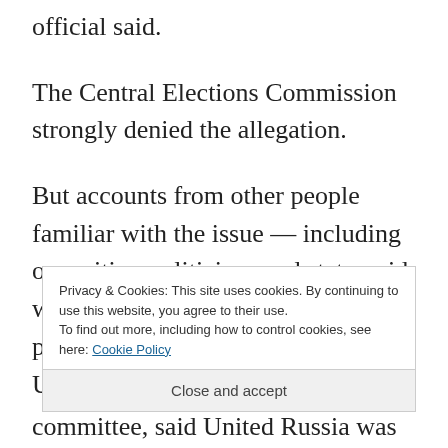official said.
The Central Elections Commission strongly denied the allegation.
But accounts from other people familiar with the issue — including opposition politicians and state-paid workers, who spoke of mounting pressure to round up votes for United Russia —
Privacy & Cookies: This site uses cookies. By continuing to use this website, you agree to their use.
To find out more, including how to control cookies, see here: Cookie Policy
Close and accept
committee, said United Russia was gunning for